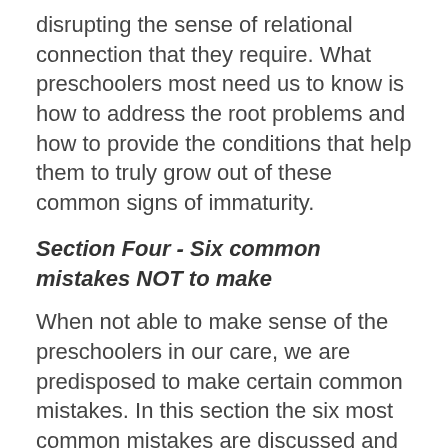disrupting the sense of relational connection that they require. What preschoolers most need us to know is how to address the root problems and how to provide the conditions that help them to truly grow out of these common signs of immaturity.
Section Four - Six common mistakes NOT to make
When not able to make sense of the preschoolers in our care, we are predisposed to make certain common mistakes. In this section the six most common mistakes are discussed and suggestions are provided for how to avoid these pitfalls with preschoolers. Perhaps our greatest faux pas with preschoolers is